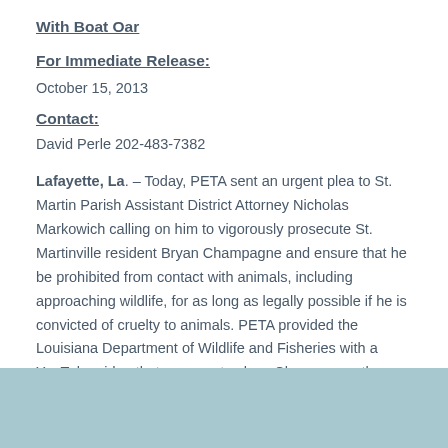With Boat Oar
For Immediate Release:
October 15, 2013
Contact:
David Perle 202-483-7382
Lafayette, La. – Today, PETA sent an urgent plea to St. Martin Parish Assistant District Attorney Nicholas Markowich calling on him to vigorously prosecute St. Martinville resident Bryan Champagne and ensure that he be prohibited from contact with animals, including approaching wildlife, for as long as legally possible if he is convicted of cruelty to animals. PETA provided the Louisiana Department of Wildlife and Fisheries with a YouTube video that appears to show Champagne, the